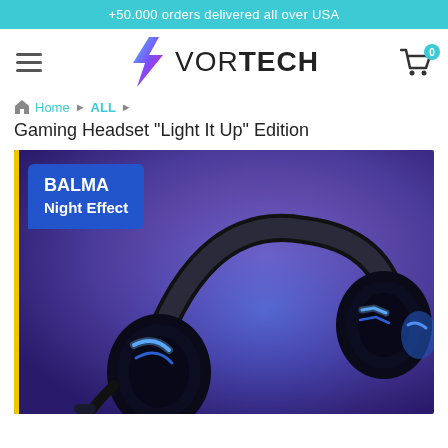+50.000 orders delivered all over USA
[Figure (logo): VorTech brand logo with a lightning bolt icon and the text VOR TECH]
Home › ALL ›
Gaming Headset "Light It Up" Edition
[Figure (photo): Gaming headset with blue LED lighting (BALMA Night Effect) on a purple background]